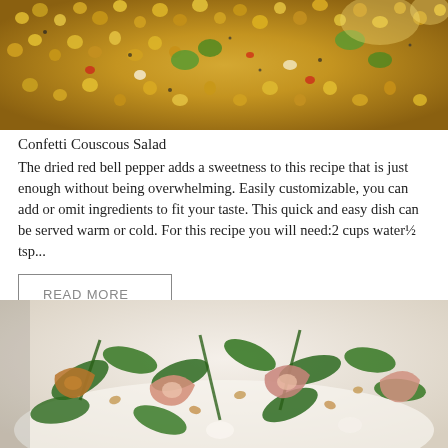[Figure (photo): Close-up photo of confetti couscous salad with golden couscous pearls, green vegetables, red peppers and seasoning]
Confetti Couscous Salad
The dried red bell pepper adds a sweetness to this recipe that is just enough without being overwhelming.  Easily customizable, you can add or omit ingredients to fit your taste.  This quick and easy dish can be served warm or cold.  For this recipe you will need:2 cups water½ tsp...
READ MORE
[Figure (photo): Photo of a salad with arugula greens, shrimp or seafood, pine nuts, and other ingredients served in a white bowl]